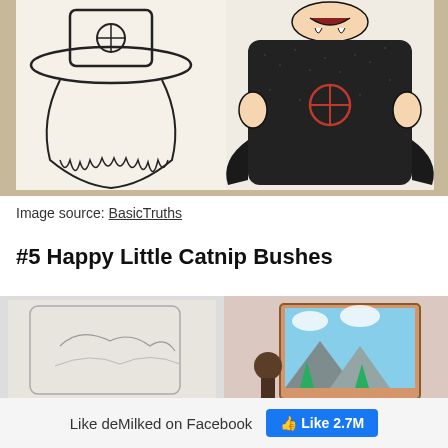[Figure (photo): Two drawings side by side: left is an uncolored line drawing of a cartoon vampire/pilgrim figure with a hat and beard; right is the same figure colored in dark black as a vampire with a cape and red Armani-style logo on chest.]
Image source: BasicTruths
#5 Happy Little Catnip Bushes
[Figure (photo): Two images side by side: left shows a pencil sketch/outline drawing on paper; right shows a completed colorful painting of a Bob Ross-style scene with mountains, trees, clouds on a canvas on an easel.]
Like deMilked on Facebook  👍 Like 2.7M